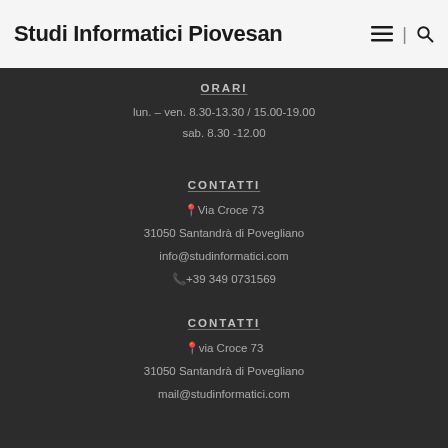Studi Informatici Piovesan
ORARI
lun. – ven. 8.30-13.30 / 15.00-19.00
sab. 8.30 -12.00
CONTATTI
📍Via Croce 73
31050 Santandrà di Povegliano
info@studinformatici.com
📞+39 349 0731569
CONTATTI
📍via Croce 73
31050 Santandrà di Povegliano
mail@studinformatici.com